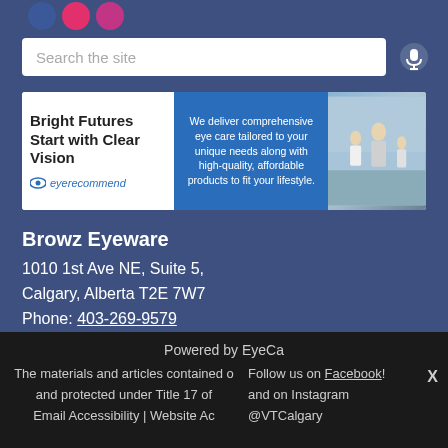[Figure (screenshot): Social media icons (blue, red, pink circles) at top left]
[Figure (screenshot): Search bar with text 'Search the site' and microphone icon]
[Figure (infographic): Advertisement banner: 'Bright Futures Start with Clear Vision' with eye recommend logo, blue middle section with text about comprehensive eye care, and image of family on beach]
Browz Eyeware
1010 1st Ave NE, Suite 5,
Calgary, Alberta T2E 7W7
Phone: 403-269-9579
https://www.visiontherapycalgary.com
Powered by EyeCa
The materials and articles contained o
and protected under Title 17 of
Email Accessibility | Website Ac
Follow us on Facebook!
and on Instagram
@VTCalgary